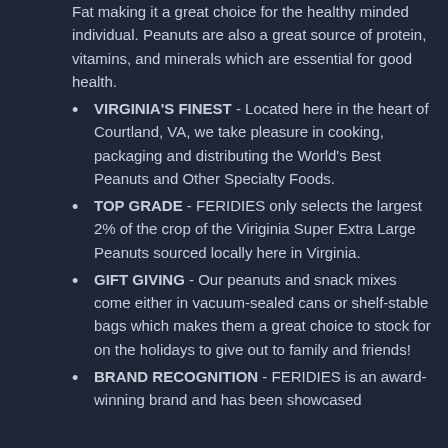Fat making it a great choice for the healthy minded individual. Peanuts are also a great source of protein, vitamins, and minerals which are essential for good health.
VIRGINIA'S FINEST - Located here in the heart of Courtland, VA, we take pleasure in cooking, packaging and distributing the World's Best Peanuts and Other Specialty Foods.
TOP GRADE - FERIDIES only selects the largest 2% of the crop of the Viriginia Super Extra Large Peanuts sourced locally here in Virginia.
GIFT GIVING - Our peanuts and snack mixes come either in vacuum-sealed cans or shelf-stable bags which makes them a great choice to stock for on the holidays to give out to family and friends!
BRAND RECOGNITION - FERIDIES is an award-winning brand and has been showcased